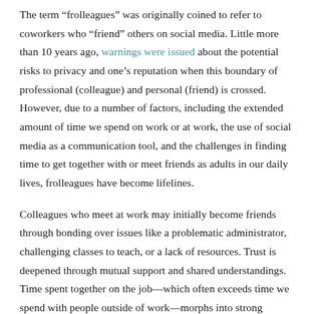The term “frolleagues” was originally coined to refer to coworkers who “friend” others on social media. Little more than 10 years ago, warnings were issued about the potential risks to privacy and one’s reputation when this boundary of professional (colleague) and personal (friend) is crossed. However, due to a number of factors, including the extended amount of time we spend on work or at work, the use of social media as a communication tool, and the challenges in finding time to get together with or meet friends as adults in our daily lives, frolleagues have become lifelines.
Colleagues who meet at work may initially become friends through bonding over issues like a problematic administrator, challenging classes to teach, or a lack of resources. Trust is deepened through mutual support and shared understandings. Time spent together on the job—which often exceeds time we spend with people outside of work—morphs into strong connections because of consistent opportunities for interaction.